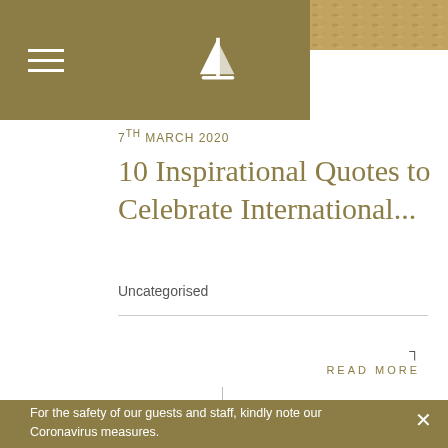7th March 2020
10 Inspirational Quotes to Celebrate International...
Uncategorised
READ MORE
For the safety of our guests and staff, kindly note our Coronavirus measures.
Learn more.
MAKE A BOOKING